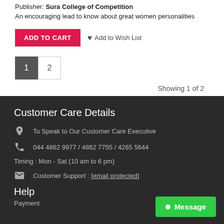Publisher: Sura College of Competition
An encouraging lead to know about great women personalities
ADD TO CART   Add to Wish List
1   2
Showing 1 of 2
Customer Care Details
To Speak to Our Customer Care Executive
044 4862 9977 / 4862 7755 / 4265 5644
Timing : Mon - Sat (10 am to 6 pm)
Customer Support : [email protected]
Help
Payment
Message